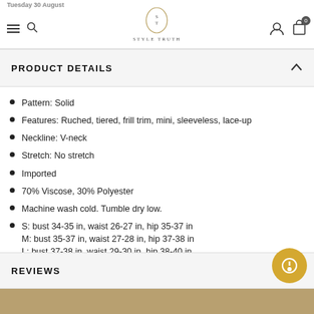Tuesday 30 August | STYLE TRUTH
PRODUCT DETAILS
Pattern: Solid
Features: Ruched, tiered, frill trim, mini, sleeveless, lace-up
Neckline: V-neck
Stretch: No stretch
Imported
70% Viscose, 30% Polyester
Machine wash cold. Tumble dry low.
S: bust 34-35 in, waist 26-27 in, hip 35-37 in
M: bust 35-37 in, waist 27-28 in, hip 37-38 in
L: bust 37-38 in, waist 29-30 in, hip 38-40 in
REVIEWS